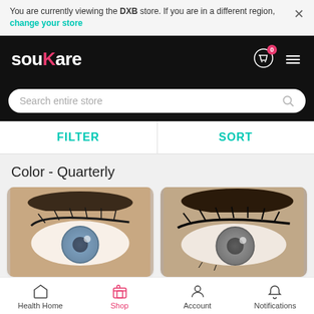You are currently viewing the DXB store. If you are in a different region, change your store
[Figure (screenshot): souKare logo in white and pink on black header bar with cart icon and menu icon]
Search entire store
FILTER
SORT
Color - Quarterly
[Figure (photo): Close-up eye with blue/grey colored contact lens and dark eyebrow]
[Figure (photo): Close-up eye with grey colored contact lens and dark eyebrow]
Health Home
Shop
Account
Notifications